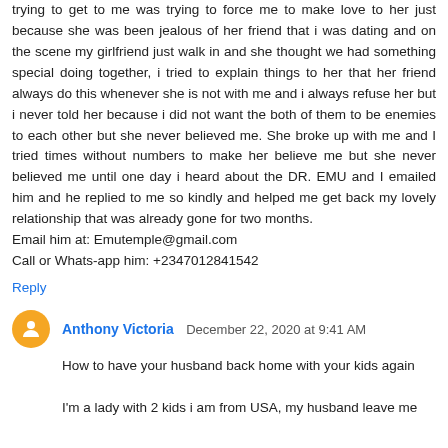trying to get to me was trying to force me to make love to her just because she was been jealous of her friend that i was dating and on the scene my girlfriend just walk in and she thought we had something special doing together, i tried to explain things to her that her friend always do this whenever she is not with me and i always refuse her but i never told her because i did not want the both of them to be enemies to each other but she never believed me. She broke up with me and I tried times without numbers to make her believe me but she never believed me until one day i heard about the DR. EMU and I emailed him and he replied to me so kindly and helped me get back my lovely relationship that was already gone for two months.
Email him at: Emutemple@gmail.com
Call or Whats-app him: +2347012841542
Reply
Anthony Victoria December 22, 2020 at 9:41 AM
How to have your husband back home with your kids again
I'm a lady with 2 kids i am from USA, my husband leave me